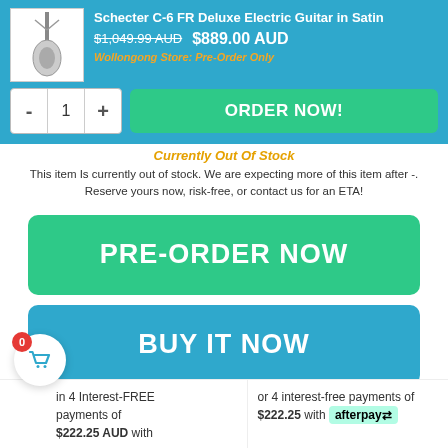Schecter C-6 FR Deluxe Electric Guitar in Satin — $1,049.99 AUD  $889.00 AUD — Wollongong Store: Pre-Order Only
Currently Out Of Stock
This item is currently out of stock. We are expecting more of this item after -. Reserve yours now, risk-free, or contact us for an ETA!
PRE-ORDER NOW
BUY IT NOW
in 4 Interest-FREE payments of $222.25 AUD with
or 4 interest-free payments of $222.25 with afterpay